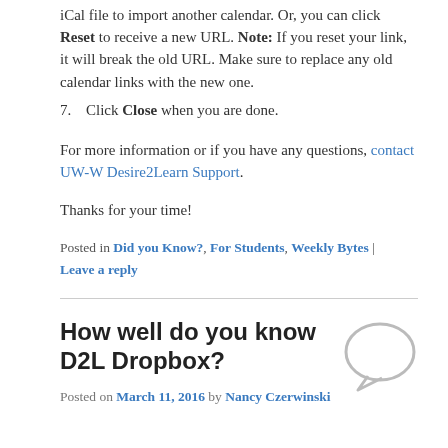iCal file to import another calendar. Or, you can click Reset to receive a new URL. Note: If you reset your link, it will break the old URL. Make sure to replace any old calendar links with the new one.
7. Click Close when you are done.
For more information or if you have any questions, contact UW-W Desire2Learn Support.
Thanks for your time!
Posted in Did you Know?, For Students, Weekly Bytes | Leave a reply
How well do you know D2L Dropbox?
Posted on March 11, 2016 by Nancy Czerwinski